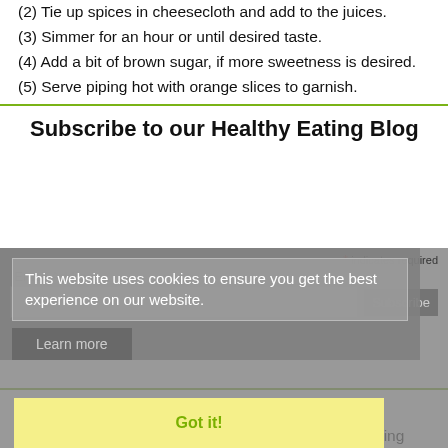(2) Tie up spices in cheesecloth and add to the juices.
(3) Simmer for an hour or until desired taste.
(4) Add a bit of brown sugar, if more sweetness is desired.
(5) Serve piping hot with orange slices to garnish.
Subscribe to our Healthy Eating Blog
* indicates required
Email Address *
[Figure (screenshot): Cookie consent overlay with text: This website uses cookies to ensure you get the best experience on our website. Learn more button and Got it! button.]
More than a seasoning
It turns out that cinnamon is about more than just making